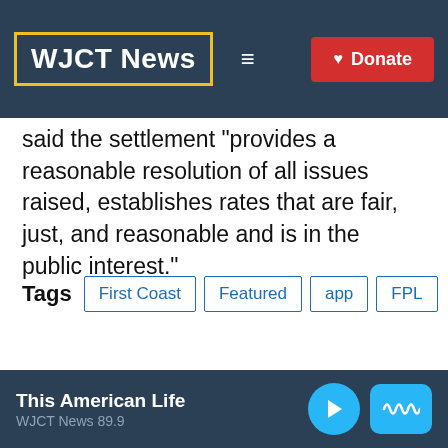WJCT News
said the settlement “provides a reasonable resolution of all issues raised, establishes rates that are fair, just, and reasonable and is in the public interest.”
Tags  First Coast  Featured  app  FPL
[Figure (other): Social share buttons: Facebook, Twitter, LinkedIn, Flipboard, Email]
This American Life
WJCT News 89.9